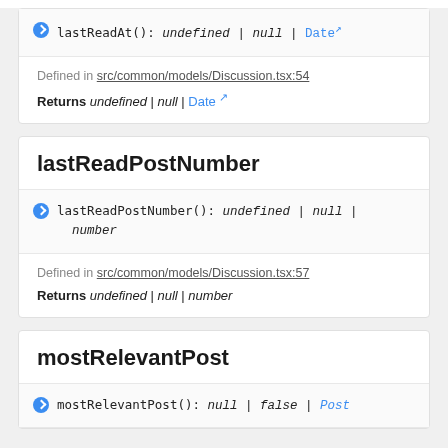lastReadAt(): undefined | null | Date — signature row
Defined in src/common/models/Discussion.tsx:54
Returns undefined | null | Date
lastReadPostNumber
lastReadPostNumber(): undefined | null | number
Defined in src/common/models/Discussion.tsx:57
Returns undefined | null | number
mostRelevantPost
mostRelevantPost(): null | false | Post